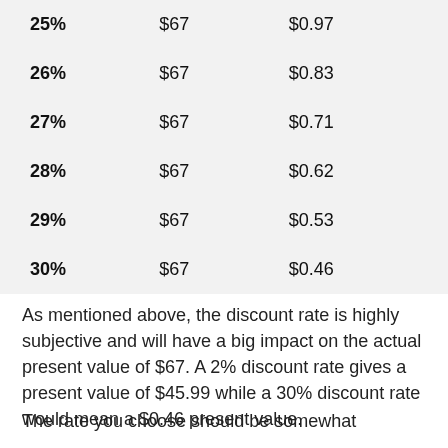| 25% | $67 | $0.97 |
| 26% | $67 | $0.83 |
| 27% | $67 | $0.71 |
| 28% | $67 | $0.62 |
| 29% | $67 | $0.53 |
| 30% | $67 | $0.46 |
As mentioned above, the discount rate is highly subjective and will have a big impact on the actual present value of $67. A 2% discount rate gives a present value of $45.99 while a 30% discount rate would mean a $0.46 present value.
The rate you choose should be somewhat